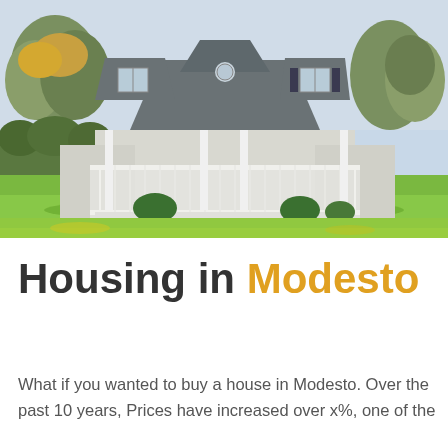[Figure (photo): Exterior photograph of a large white Cape Cod style house with gray shingle roof, wide wraparound porch with white railings, surrounded by lush green lawn and trees in autumn colors.]
Housing in Modesto
What if you wanted to buy a house in Modesto. Over the past 10 years, Prices have increased over x%, one of the